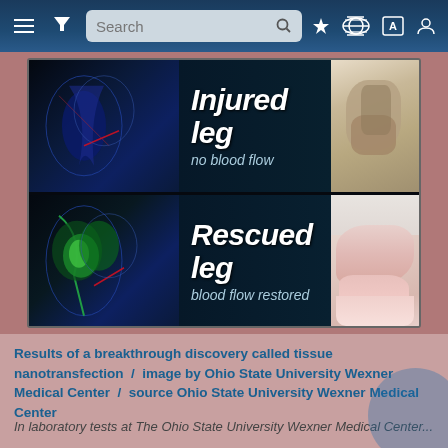[Figure (screenshot): Website navigation bar with hamburger menu, filter icon, search bar, pin icon, X logo, translate icon, and user profile icon on dark blue background]
[Figure (photo): Two-panel medical image showing 'Injured leg / no blood flow' (top) with thermal/fluorescence imaging and photo of injured rodent leg, and 'Rescued leg / blood flow restored' (bottom) with thermal/fluorescence imaging showing restored blood flow and photo of healthy-looking rodent leg. Images from Ohio State University Wexner Medical Center demonstrating tissue nanotransfection results.]
Results of a breakthrough discovery called tissue nanotransfection / image by Ohio State University Wexner Medical Center / source Ohio State University Wexner Medical Center
In laboratory tests at The Ohio State University Wexner Medical Center...